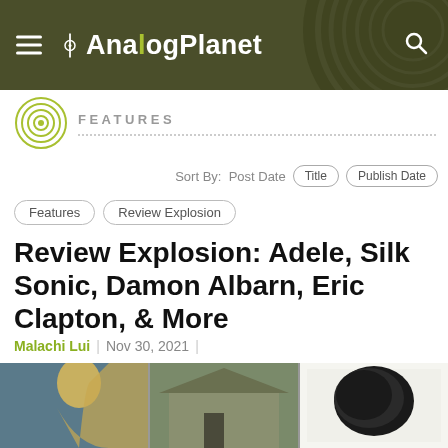AnalogPlanet
FEATURES
Sort By:  Post Date  Title  Publish Date
Features
Review Explosion
Review Explosion: Adele, Silk Sonic, Damon Albarn, Eric Clapton, & More
Malachi Lui  |  Nov 30, 2021  |
[Figure (photo): Three album cover images side by side: a blonde woman in profile (Adele), a house exterior photo, and a dark rocky landscape album cover]